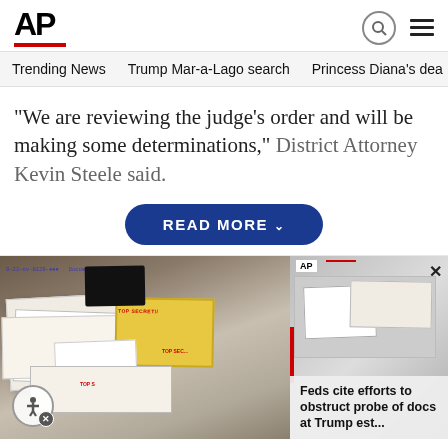AP
Trending News   Trump Mar-a-Lago search   Princess Diana's dea
“We are reviewing the judge’s order and will be making some determinations,” District Attorney Kevin Steele said.
READ MORE
[Figure (photo): Photo of classified documents with TOP SECRET markings on a table, related to the Trump Mar-a-Lago search.]
Feds cite efforts to obstruct probe of docs at Trump est...